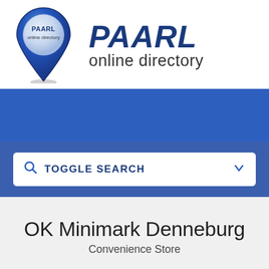[Figure (logo): PAARL Online Directory logo: a blue map pin icon with 'PAARL online directory' text inside a white circle, next to bold italic text 'PAARL' and 'online directory']
TOGGLE SEARCH
OK Minimark Denneburg
Convenience Store